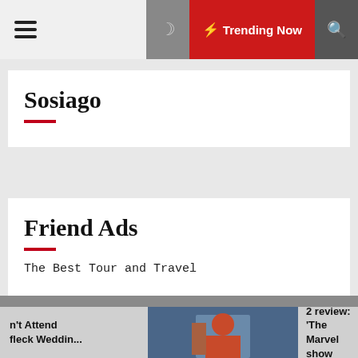≡  🌙  ⚡ Trending Now  🔍
Sosiago
Friend Ads
The Best Tour and Travel
fabrikanttech.com Theme: Default Mag by ThemeInWP
n't Attend fleck Weddin...
She-Hulk episode 2 review: 'The Marvel show finds its groove'